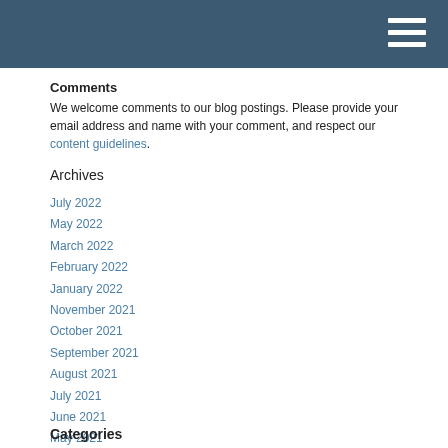Comments
We welcome comments to our blog postings. Please provide your email address and name with your comment, and respect our content guidelines.
Archives
July 2022
May 2022
March 2022
February 2022
January 2022
November 2021
October 2021
September 2021
August 2021
July 2021
June 2021
May 2021
April 2021
March 2021
February 2021
January 2021
December 2020
November 2020
October 2020
September 2020
Categories